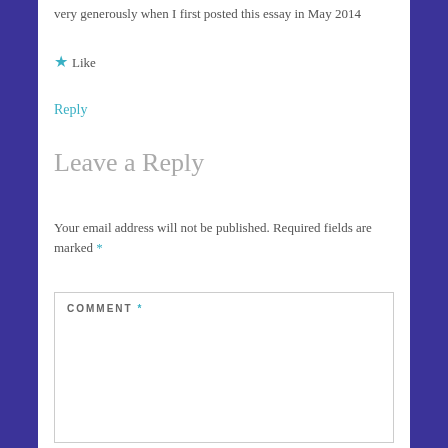very generously when I first posted this essay in May 2014
★ Like
Reply
Leave a Reply
Your email address will not be published. Required fields are marked *
COMMENT *